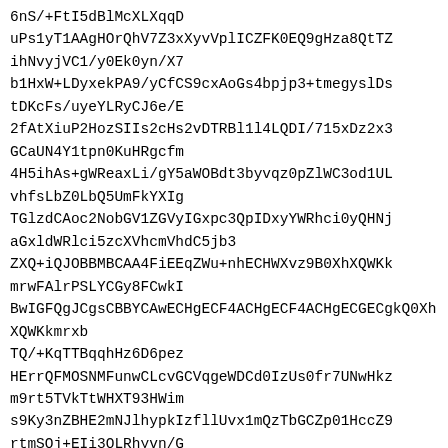6nS/+FtI5dBlMcXLXqqD
uPs1yT1AAgHOrQhV7Z3xXyvVplICZFK0EQ9gHza8QtTZ
ihNvyjVC1/y0Ek0yn/X7
b1HxW+LDyxekPA9/yCfCS9cxAoGs4bpjp3+tmegyslDs
tDKcFs/uyeYLRyCJ6e/E
2fAtXiuP2HozSIIs2cHs2vDTRBl1l4LQDI/715xDz2x3
GCaUN4Y1tpn0KuHRgcfm
4H5ihAs+gWReaxLi/gY5aWOBdt3byvqz0pZlWC3od1UL
vhfsLbZ0LbQ5UmFkYXIg
TGlzdCAoc2NobGV1ZGVyIGxpc3QpIDxyYWRhci0yQHNj
aGxldWRlci5zcXVhcmVhdC5jb3
ZXQ+iQJOBBMBCAA4FiEEqZWu+nhECHWXvz9B0XhXQWKk
mrwFAlrPSLYCGy8FCwkI
BwIGFQgJCgsCBBYCAwECHgECF4ACHgECF4ACHgECGECgkQ0XhXQWKkmrxb
TQ/+KqTTBqqhHz6D6pez
HErrQFMOSNMFunwCLcvGCVqgeWDCd0IzUs0fr7UNwHkz
m9rt5TVkTtWHXT93HWim
s9Ky3nZBHE2mNJlhypkIzfllUvx1mQzTbGCZp01HccZ9
rtmSOj+EIi3OLRhyvn/G